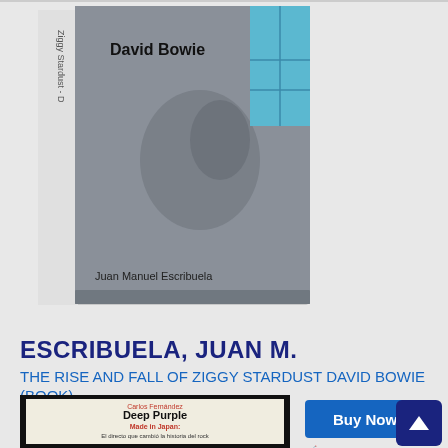[Figure (photo): Book cover of 'Ziggy Stardust - David Bowie' by Juan Manuel Escribuela, showing grey textured cover with blue window background]
ESCRIBUELA, JUAN M.
THE RISE AND FALL OF ZIGGY STARDUST DAVID BOWIE (BOOK)
[ Label: QUARENTENA] Rock
15.00Eur.
[Figure (photo): Book cover of 'Deep Purple - Made in Japan: El directo que cambió la historia del rock' by Carlos Fernández]
Buy Now
Item in Stock